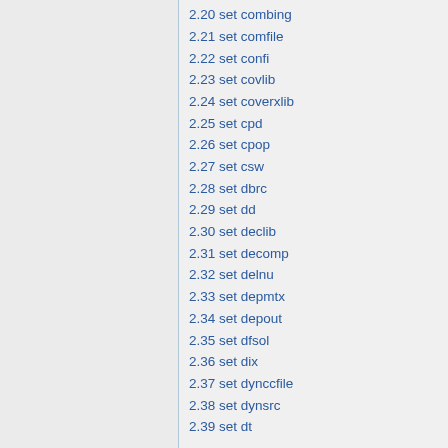2.20 set combing
2.21 set comfile
2.22 set confi
2.23 set covlib
2.24 set coverxlib
2.25 set cpd
2.26 set cpop
2.27 set csw
2.28 set dbrc
2.29 set dd
2.30 set declib
2.31 set decomp
2.32 set delnu
2.33 set depmtx
2.34 set depout
2.35 set dfsol
2.36 set dix
2.37 set dynccfile
2.38 set dynsrc
2.39 set dt